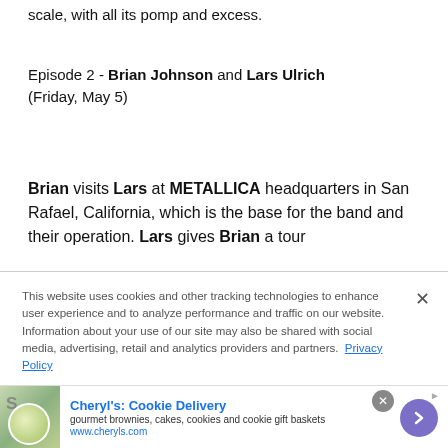scale, with all its pomp and excess.
Episode 2 - Brian Johnson and Lars Ulrich (Friday, May 5)
Brian visits Lars at METALLICA headquarters in San Rafael, California, which is the base for the band and their operation. Lars gives Brian a tour
This website uses cookies and other tracking technologies to enhance user experience and to analyze performance and traffic on our website. Information about your use of our site may also be shared with social media, advertising, retail and analytics providers and partners. Privacy Policy
[Figure (infographic): Advertisement for Cheryl's Cookie Delivery showing food image, title, subtitle and arrow button]